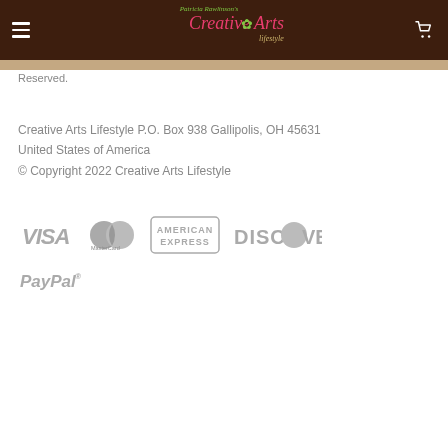Patricia Rawlinson's Creative Arts Lifestyle
Reserved.
Creative Arts Lifestyle P.O. Box 938 Gallipolis, OH 45631
United States of America
© Copyright 2022 Creative Arts Lifestyle
[Figure (logo): Payment method logos: VISA, MasterCard, American Express, Discover, PayPal — rendered in gray]